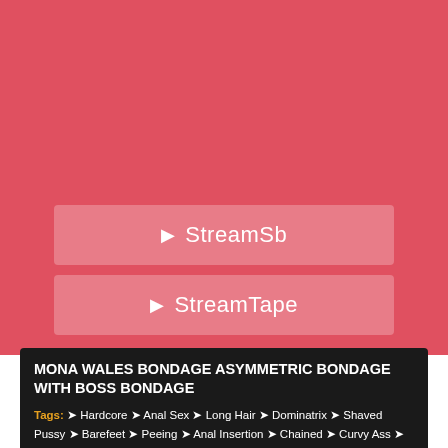[Figure (screenshot): Two streaming buttons (StreamSb and StreamTape) on a red/salmon background]
MONA WALES BONDAGE ASYMMETRIC BONDAGE WITH BOSS BONDAGE
Tags: 🏷 Hardcore 🏷 Anal Sex 🏷 Long Hair 🏷 Dominatrix 🏷 Shaved Pussy 🏷 Barefeet 🏷 Peeing 🏷 Anal Insertion 🏷 Chained 🏷 Curvy Ass 🏷 Dildo 🏷 Green Eyes 🏷 Brown Eyes 🏷 Fingering 🏷 Deep Throat 🏷 Naked 🏷 Medium Skin 🏷 Cathy